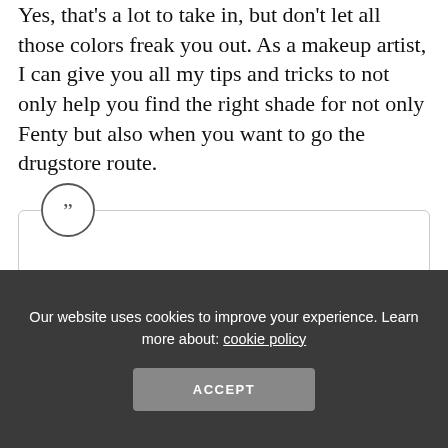Yes, that's a lot to take in, but don't let all those colors freak you out. As a makeup artist, I can give you all my tips and tricks to not only help you find the right shade for not only Fenty but also when you want to go the drugstore route.
[Figure (other): A quote box with a circular quotation mark icon at the top left, and a blurred/placeholder avatar with two gray placeholder lines at the bottom left, suggesting a testimonial or pull quote widget.]
Our website uses cookies to improve your experience. Learn more about: cookie policy
ACCEPT